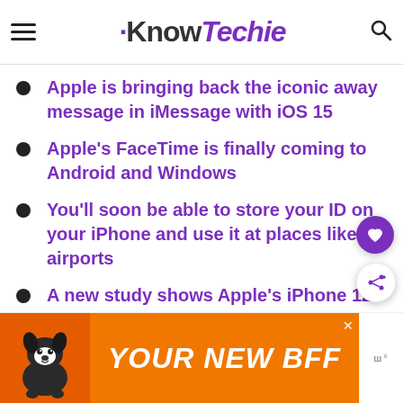KnowTechie
Apple is bringing back the iconic away message in iMessage with iOS 15
Apple's FaceTime is finally coming to Android and Windows
You'll soon be able to store your ID on your iPhone and use it at places like airports
A new study shows Apple's iPhone 12 can interfere with things like
[Figure (infographic): Advertisement banner showing a dog with text 'YOUR NEW BFF' on orange background]